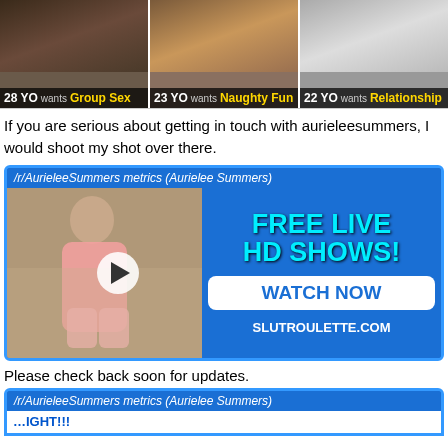[Figure (photo): Three ad panels showing women with age and desire labels: '28 YO wants Group Sex', '23 YO wants Naughty Fun', '22 YO wants Relationship']
If you are serious about getting in touch with aurieleesummers, I would shoot my shot over there.
[Figure (photo): Promotional banner for /r/AurieleeSummers metrics (Aurielee Summers) with photo of woman in pink lingerie, play button overlay, and text: FREE LIVE HD SHOWS! WATCH NOW SLUTROULETTE.COM]
Please check back soon for updates.
[Figure (photo): Partial promotional banner for /r/AurieleeSummers metrics (Aurielee Summers) partially visible at bottom]